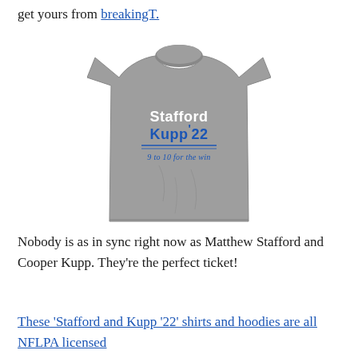get yours from breakingT.
[Figure (photo): Gray t-shirt with 'Stafford Kupp '22 - 9 to 10 for the win' printed on it in white and blue text, styled like a campaign shirt.]
Nobody is as in sync right now as Matthew Stafford and Cooper Kupp. They're the perfect ticket!
These 'Stafford and Kupp '22' shirts and hoodies are all NFLPA licensed